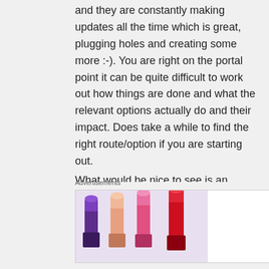and they are constantly making updates all the time which is great, plugging holes and creating some more :-). You are right on the portal point it can be quite difficult to work out how things are done and what the relevant options actually do and their impact. Does take a while to find the right route/option if you are starting out.

What would be nice to see is an actual comparison between the 3 main players in terms of cost and
Advertisements
[Figure (illustration): MAC cosmetics advertisement showing lipsticks in purple, peach, pink and red colors on the left, MAC logo in center, and a SHOP NOW button on the right.]